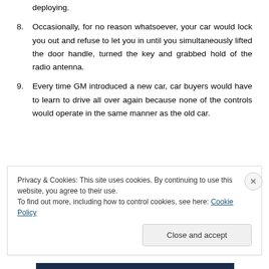deploying.
8. Occasionally, for no reason whatsoever, your car would lock you out and refuse to let you in until you simultaneously lifted the door handle, turned the key and grabbed hold of the radio antenna.
9. Every time GM introduced a new car, car buyers would have to learn to drive all over again because none of the controls would operate in the same manner as the old car.
[Figure (photo): Partial image showing a person's hands and a dark navy blue rectangular area, partially obscured by cookie banner overlay.]
Privacy & Cookies: This site uses cookies. By continuing to use this website, you agree to their use.
To find out more, including how to control cookies, see here: Cookie Policy
Close and accept